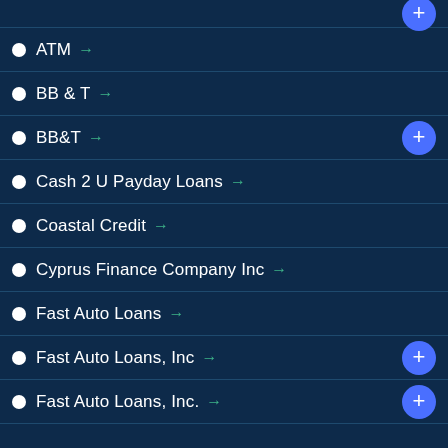ATM →
BB & T →
BB&T →
Cash 2 U Payday Loans →
Coastal Credit →
Cyprus Finance Company Inc →
Fast Auto Loans →
Fast Auto Loans, Inc →
Fast Auto Loans, Inc. →